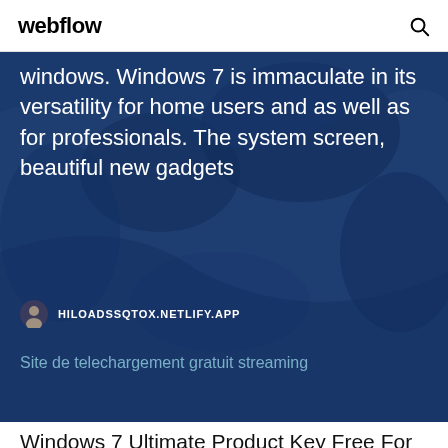webflow
[Figure (screenshot): Dark blue hero banner with world map background showing partial article text about Windows 7]
windows. Windows 7 is immaculate in its versatility for home users and as well as for professionals. The system screen, beautiful new gadgets
HILOADSSQTOX.NETLIFY.APP
Site de telechargement gratuit streaming
Windows 7 Ultimate Product Key Free For 32/64 bIT. by 2 Comments. Windows